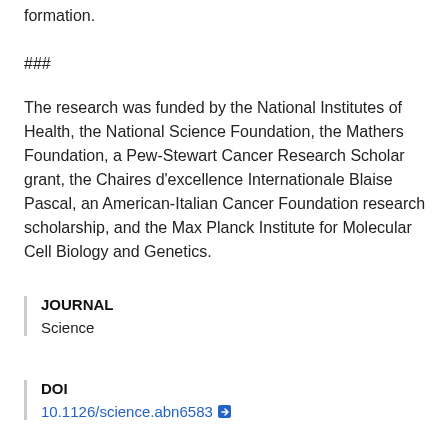formation.
###
The research was funded by the National Institutes of Health, the National Science Foundation, the Mathers Foundation, a Pew-Stewart Cancer Research Scholar grant, the Chaires d'excellence Internationale Blaise Pascal, an American-Italian Cancer Foundation research scholarship, and the Max Planck Institute for Molecular Cell Biology and Genetics.
JOURNAL
Science
DOI
10.1126/science.abn6583